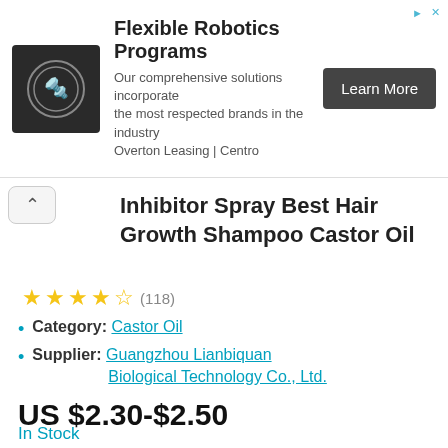[Figure (screenshot): Advertisement banner for Flexible Robotics Programs by Overton Leasing / Centro. Shows a robotic arm icon on dark background, ad text, and 'Learn More' button.]
Inhibitor Spray Best Hair Growth Shampoo Castor Oil
★★★★½ (118)
Category: Castor Oil
Supplier: Guangzhou Lianbiquan Biological Technology Co., Ltd.
US $2.30-$2.50
In Stock
ADD TO CART